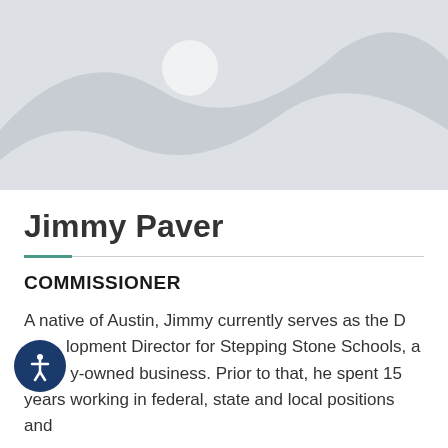[Figure (photo): Placeholder image with grey background, white mountain silhouette shapes and a white circle representing a sun or moon]
Jimmy Paver
COMMISSIONER
A native of Austin, Jimmy currently serves as the Development Director for Stepping Stone Schools, a family-owned business. Prior to that, he spent 15 years working in federal, state and local positions and...